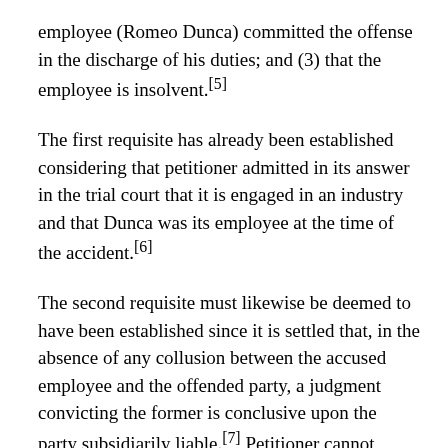employee (Romeo Dunca) committed the offense in the discharge of his duties; and (3) that the employee is insolvent.[5]
The first requisite has already been established considering that petitioner admitted in its answer in the trial court that it is engaged in an industry and that Dunca was its employee at the time of the accident.[6]
The second requisite must likewise be deemed to have been established since it is settled that, in the absence of any collusion between the accused employee and the offended party, a judgment convicting the former is conclusive upon the party subsidiarily liable.[7] Petitioner cannot claim that he has been deprived of due process on the ground that it was not a party to the suit. For as